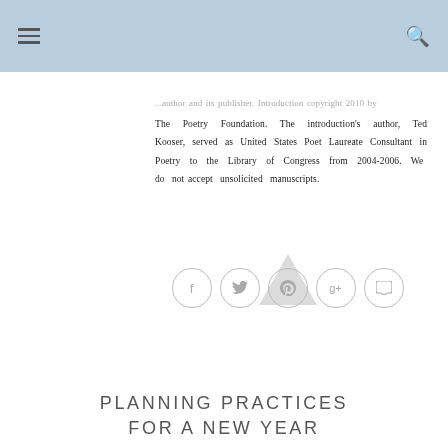[hamburger menu] [search icon]
...author and its publisher. Introduction copyright 2010 by The Poetry Foundation. The introduction's author, Ted Kooser, served as United States Poet Laureate Consultant in Poetry to the Library of Congress from 2004-2006. We do not accept unsolicited manuscripts.
[Figure (other): Social sharing icons: Facebook, Twitter, Pinterest, Google+, Comment — each in a light grey circle outline]
PLANNING PRACTICES FOR A NEW YEAR